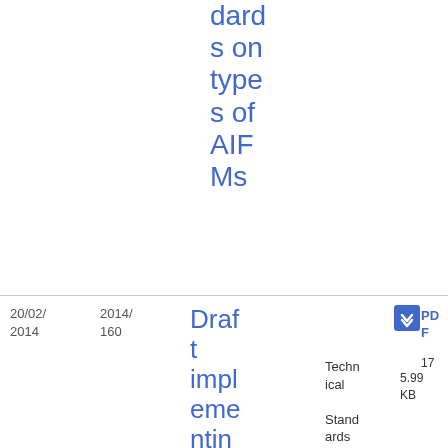dards on types of AIFMs
| Date | Ref | Title | Topic | Type |
| --- | --- | --- | --- | --- |
| 20/02/2014 | 2014/160 | Draft implementing technical standards on notification-EuV | Fund Management / Technical Standards | PDF 175.99 KB |